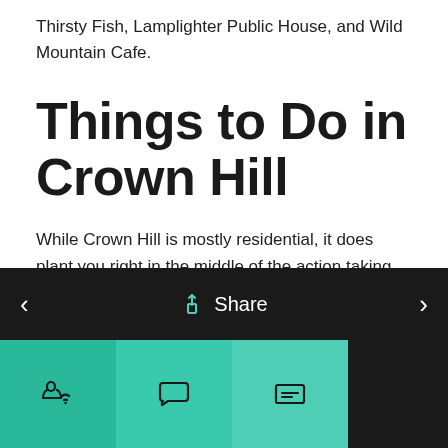Thirsty Fish, Lamplighter Public House, and Wild Mountain Cafe.
Things to Do in Crown Hill
While Crown Hill is mostly residential, it does plant you right in the middle of the action taking place in the surrounding
< Share >